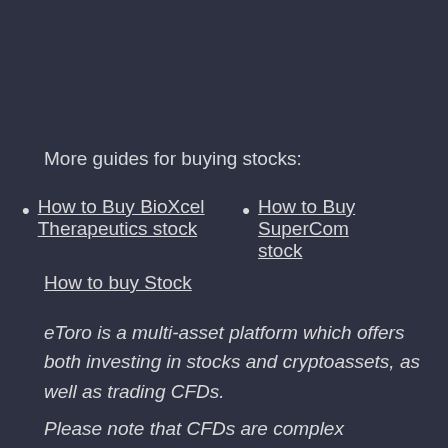More guides for buying stocks:
How to Buy BioXcel Therapeutics stock
How to Buy SuperCom stock
How to buy Stock
eToro is a multi-asset platform which offers both investing in stocks and cryptoassets, as well as trading CFDs.
Please note that CFDs are complex